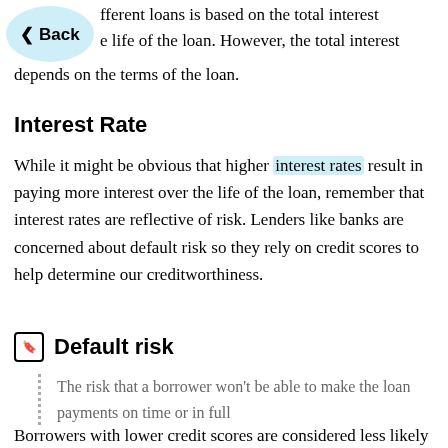nterent loans is based on the total interest e life of the loan. However, the total interest depends on the terms of the loan.
Interest Rate
While it might be obvious that higher interest rates result in paying more interest over the life of the loan, remember that interest rates are reflective of risk. Lenders like banks are concerned about default risk so they rely on credit scores to help determine our creditworthiness.
Default risk
The risk that a borrower won't be able to make the loan payments on time or in full
Borrowers with lower credit scores are considered less likely to repay the debt. So, lenders want more interest (which means) if the borrower is a greater risk than